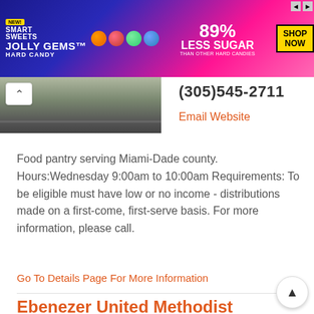[Figure (photo): Advertisement banner for Smart Sweets Jolly Gems Hard Candy - 89% Less Sugar than other hard candies, with Shop Now button]
[Figure (photo): Street-level photo showing a road and grass, partially cropped]
(305)545-2711
Email Website
Food pantry serving Miami-Dade county. Hours:Wednesday 9:00am to 10:00am Requirements: To be eligible must have low or no income - distributions made on a first-come, first-serve basis. For more information, please call.
Go To Details Page For More Information
Ebenezer United Methodist Church - Food Pantry